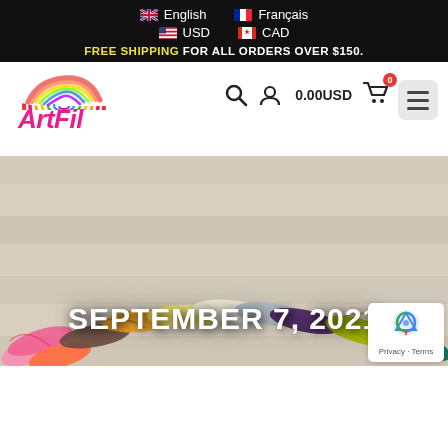English  Français  USD  CAD
FREE SHIPPING FOR ALL ORDERS OVER $150.
[Figure (screenshot): Navigation bar with search icon, user account icon, 0.00USD cart with badge 0, ArtFil logo with rainbow, and hamburger menu button]
[Figure (photo): Hero image showing colorful yarn skeins arranged in a fan pattern on a wooden surface with text SEPTEMBER 7, 2021 overlaid in white bold letters]